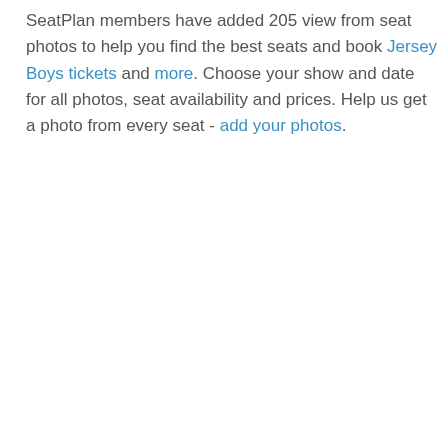SeatPlan members have added 205 view from seat photos to help you find the best seats and book Jersey Boys tickets and more. Choose your show and date for all photos, seat availability and prices. Help us get a photo from every seat - add your photos.